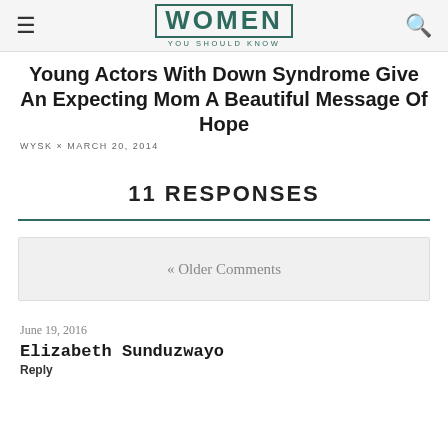WOMEN YOU SHOULD KNOW
Young Actors With Down Syndrome Give An Expecting Mom A Beautiful Message Of Hope
WYSK × MARCH 20, 2014
11 RESPONSES
« Older Comments
June 19, 2016
Elizabeth Sunduzwayo
Reply